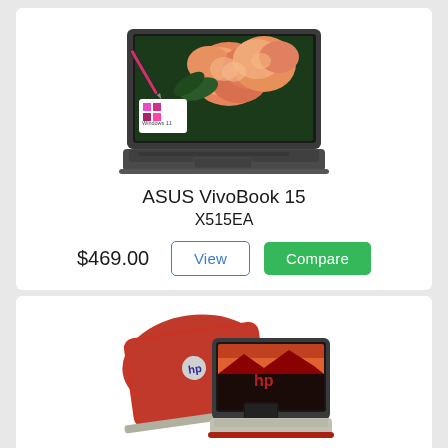[Figure (photo): ASUS VivoBook 15 laptop open showing flower wallpaper on screen with Windows 11 logo badge, dark gray body]
ASUS VivoBook 15
X515EA
$469.00
[Figure (photo): HP laptop shown from rear and front angles in red color with HP logo, showing a mountain/sunset wallpaper on the screen]